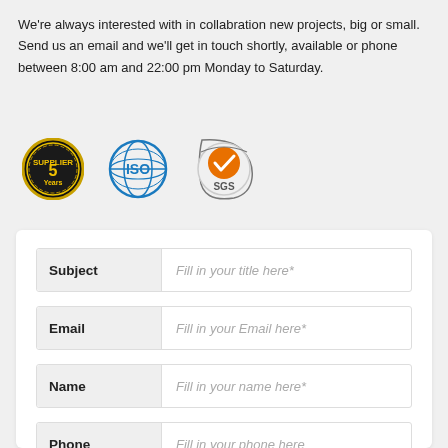We're always interested with in collabration new projects, big or small. Send us an email and we'll get in touch shortly, available or phone between 8:00 am and 22:00 pm Monday to Saturday.
[Figure (logo): Three certification logos: a gold '5 Years' badge, an ISO globe logo in blue, and an SGS orange checkmark certification seal]
| Field | Placeholder |
| --- | --- |
| Subject | Fill in your title here* |
| Email | Fill in your Email here* |
| Name | Fill in your name here* |
| Phone | Fill in your phone here |